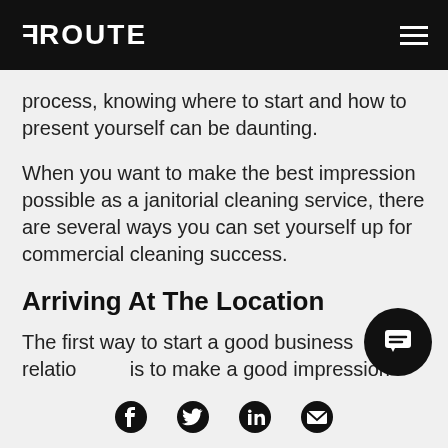ROUTE
process, knowing where to start and how to present yourself can be daunting.
When you want to make the best impression possible as a janitorial cleaning service, there are several ways you can set yourself up for commercial cleaning success.
Arriving At The Location
The first way to start a good business relationship is to make a good impression when arriving at
Social media icons: Facebook, Twitter, LinkedIn, Email